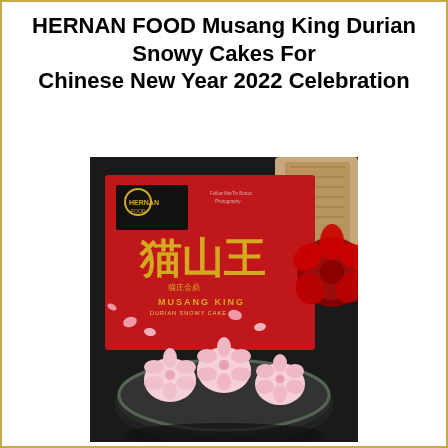HERNAN FOOD Musang King Durian Snowy Cakes For Chinese New Year 2022 Celebration
[Figure (photo): Product photo of HERNAN FOOD Musang King Durian Snowy Cakes. Shows a red gift box with Chinese characters (猫山王) and HERNAN FOOD logo, and three pink flower-shaped snowy cakes on a dark round plate, with red flowers and a kraft bag in the background.]